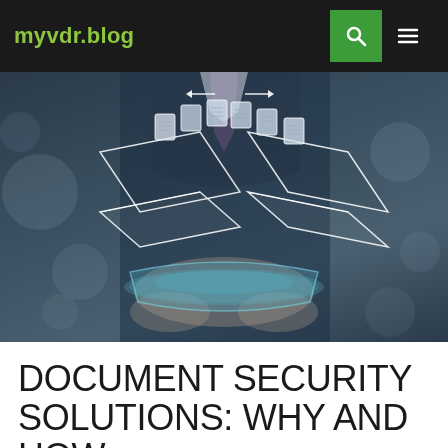myvdr.blog
[Figure (photo): Person in business suit holding a glowing tablet with holographic document transfer icons floating above it — two wireframe laptop outlines with documents flying between them, connected by arrows]
DOCUMENT SECURITY SOLUTIONS: WHY AND HOW